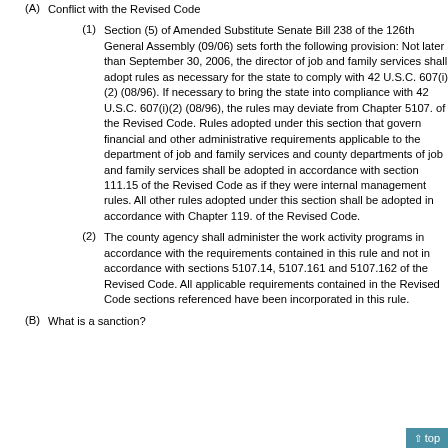(A) Conflict with the Revised Code
(1) Section (5) of Amended Substitute Senate Bill 238 of the 126th General Assembly (09/06) sets forth the following provision: Not later than September 30, 2006, the director of job and family services shall adopt rules as necessary for the state to comply with 42 U.S.C. 607(i)(2) (08/96). If necessary to bring the state into compliance with 42 U.S.C. 607(i)(2) (08/96), the rules may deviate from Chapter 5107. of the Revised Code. Rules adopted under this section that govern financial and other administrative requirements applicable to the department of job and family services and county departments of job and family services shall be adopted in accordance with section 111.15 of the Revised Code as if they were internal management rules. All other rules adopted under this section shall be adopted in accordance with Chapter 119. of the Revised Code.
(2) The county agency shall administer the work activity programs in accordance with the requirements contained in this rule and not in accordance with sections 5107.14, 5107.161 and 5107.162 of the Revised Code. All applicable requirements contained in the Revised Code sections referenced have been incorporated in this rule.
(B) What is a sanction?